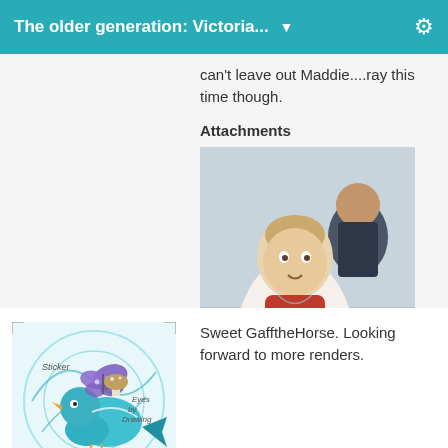The older generation: Victoria... ▼
can't leave out Maddie....ray this time though.
Attachments
[Figure (photo): Photo of two young girls, one in foreground wearing a red top, another in background wearing a dark polka dot top]
[Figure (illustration): DollyGirl avatar featuring a teal/blue bird and butterfly illustration with text 'Sticker', 'Eyes', 'Drawing']
DollyGirl
Posts: 2,574
April 2020
Sweet GafftheHorse. Looking forward to more renders.